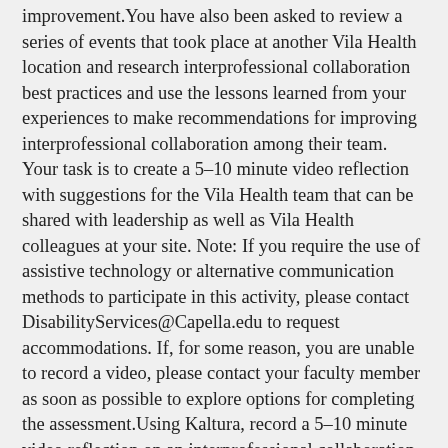improvement.You have also been asked to review a series of events that took place at another Vila Health location and research interprofessional collaboration best practices and use the lessons learned from your experiences to make recommendations for improving interprofessional collaboration among their team. Your task is to create a 5–10 minute video reflection with suggestions for the Vila Health team that can be shared with leadership as well as Vila Health colleagues at your site. Note: If you require the use of assistive technology or alternative communication methods to participate in this activity, please contact DisabilityServices@Capella.edu to request accommodations. If, for some reason, you are unable to record a video, please contact your faculty member as soon as possible to explore options for completing the assessment.Using Kaltura, record a 5–10 minute video reflection on an interprofessional collaboration experience from your personal practice, proposing suggestions on how to improve the collaboration presented in the Vila Health: Collaboration for Change activity.Be sure that your assessment addresses the following criteria. Please study the scoring guide carefully so you will know what is needed for a distinguished score:Reflect on an interdisciplinary collaboration experience,